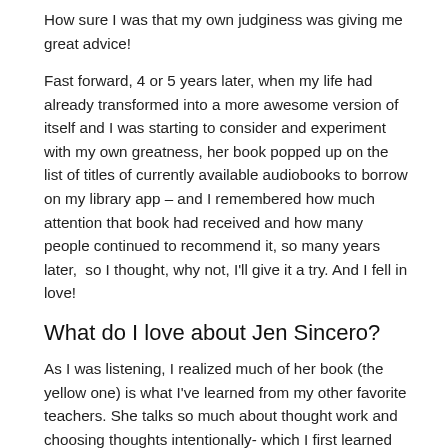How sure I was that my own judginess was giving me great advice!
Fast forward, 4 or 5 years later, when my life had already transformed into a more awesome version of itself and I was starting to consider and experiment with my own greatness, her book popped up on the list of titles of currently available audiobooks to borrow on my library app – and I remembered how much attention that book had received and how many people continued to recommend it, so many years later,  so I thought, why not, I'll give it a try. And I fell in love!
What do I love about Jen Sincero?
As I was listening, I realized much of her book (the yellow one) is what I've learned from my other favorite teachers. She talks so much about thought work and choosing thoughts intentionally- which I first learned from Brooke. She also talks about